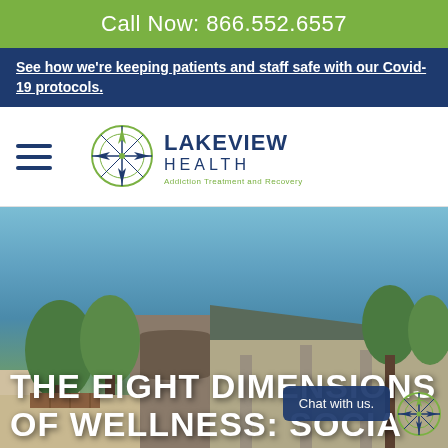Call Now: 866.552.6557
See how we're keeping patients and staff safe with our Covid-19 protocols.
[Figure (logo): Lakeview Health logo with compass rose icon. Text reads: LAKEVIEW HEALTH Addiction Treatment and Recovery]
[Figure (photo): Exterior photo of Lakeview Health facility building with stone facade, covered entryway, and trees under blue sky]
THE EIGHT DIMENSIONS OF WELLNESS: SOCIA